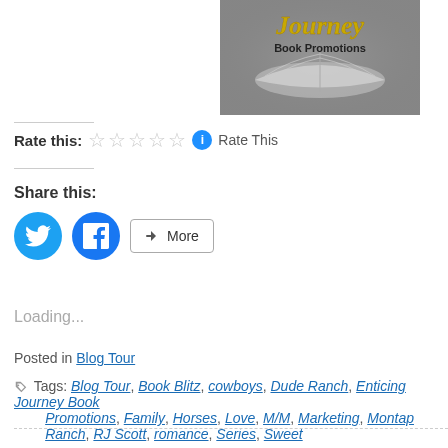[Figure (logo): Enticing Journey Book Promotions logo with open book on grey background and gold cursive text 'Journey' with 'Book Promotions' in black beneath]
Rate this: ☆☆☆☆☆ ℹ Rate This
Share this:
Loading...
Posted in Blog Tour
Tags: Blog Tour, Book Blitz, cowboys, Dude Ranch, Enticing Journey Book Promotions, Family, Horses, Love, M/M, Marketing, Montana, Photography, Ranch, RJ Scott, romance, Series, Sweet